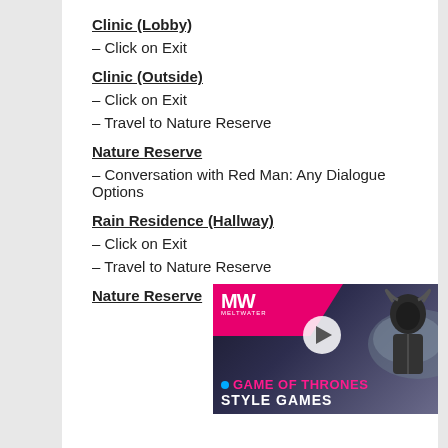Clinic (Lobby)
– Click on Exit
Clinic (Outside)
– Click on Exit
– Travel to Nature Reserve
Nature Reserve
– Conversation with Red Man: Any Dialogue Options
Rain Residence (Hallway)
– Click on Exit
– Travel to Nature Reserve
Nature Reserve
[Figure (screenshot): Video advertisement overlay showing MW logo, a horned warrior figure, play button, and text 'GAME OF THRONES STYLE GAMES' with a close button]